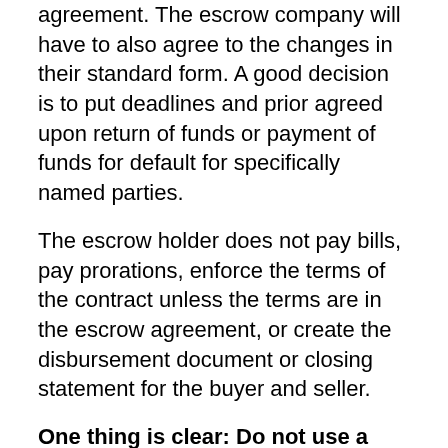agreement. The escrow company will have to also agree to the changes in their standard form. A good decision is to put deadlines and prior agreed upon return of funds or payment of funds for default for specifically named parties.
The escrow holder does not pay bills, pay prorations, enforce the terms of the contract unless the terms are in the escrow agreement, or create the disbursement document or closing statement for the buyer and seller.
One thing is clear: Do not use a real estate agent, real estate company, or notary to be the escrow holder of your funds.
Because there are fewer laws about escrow, it is also easier for some unscrupulous persons to